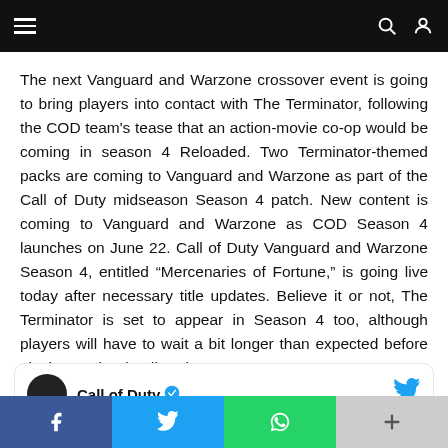Navigation bar with menu, search, and user icons
The next Vanguard and Warzone crossover event is going to bring players into contact with The Terminator, following the COD team's tease that an action-movie co-op would be coming in season 4 Reloaded. Two Terminator-themed packs are coming to Vanguard and Warzone as part of the Call of Duty midseason Season 4 patch. New content is coming to Vanguard and Warzone as COD Season 4 launches on June 22. Call of Duty Vanguard and Warzone Season 4, entitled “Mercenaries of Fortune,” is going live today after necessary title updates. Believe it or not, The Terminator is set to appear in Season 4 too, although players will have to wait a bit longer than expected before playing as the deadly cyborg.
[Figure (screenshot): Tweet card showing Call of Duty verified Twitter account with blue bird icon]
Share bar with Facebook, Twitter, WhatsApp, and more buttons